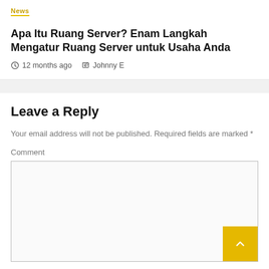News
Apa Itu Ruang Server? Enam Langkah Mengatur Ruang Server untuk Usaha Anda
12 months ago   Johnny E
Leave a Reply
Your email address will not be published. Required fields are marked *
Comment